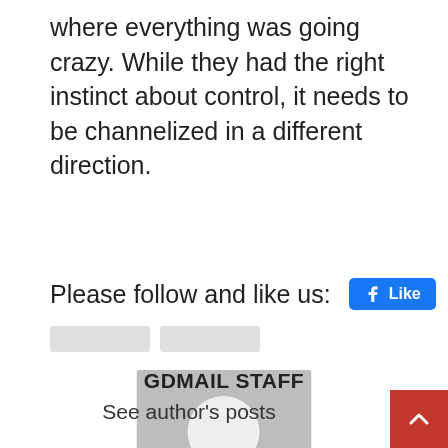where everything was going crazy. While they had the right instinct about control, it needs to be channelized in a different direction.
Please follow and like us:
[Figure (illustration): Facebook Like button (blue rounded rectangle with thumbs up icon and 'Like' text)]
[Figure (photo): Default avatar placeholder image: grey square with white silhouette of a person (head and shoulders)]
GDMAIL STAFF
See author's posts